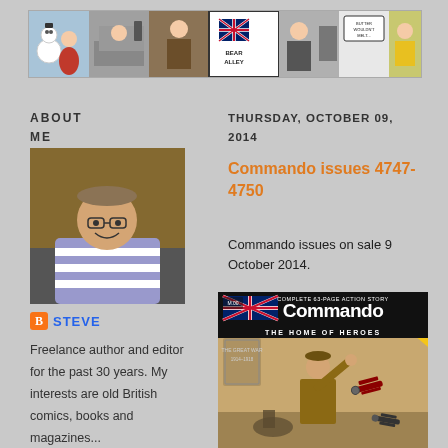[Figure (illustration): Bear Alley blog header banner with comic strip images and central Bear Alley logo]
ABOUT ME
THURSDAY, OCTOBER 09, 2014
[Figure (photo): Profile photo of Steve, a middle-aged man in a striped shirt, sitting indoors]
STEVE
Freelance author and editor for the past 30 years. My interests are old British comics, books and magazines...
Commando issues 4747-4750
Commando issues on sale 9 October 2014.
[Figure (illustration): Commando comic book cover showing a WWI soldier saluting with biplanes in the background. Title reads 'Commando: The Home of Heroes'. Complete 63-page action story.]